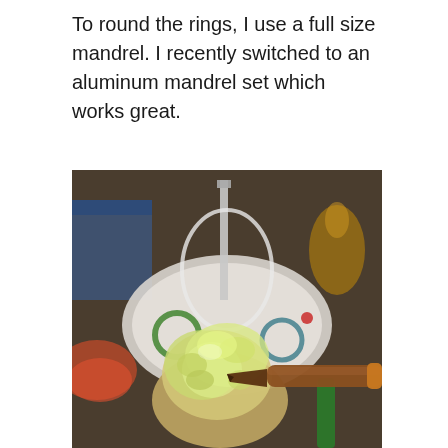To round the rings, I use a full size mandrel. I recently switched to an aluminum mandrel set which works great.
[Figure (photo): Close-up photo of a crafting or jewelry-making scene. In the foreground, a lumpy translucent yellowish-green mass (possibly resin or wax) is being worked on with a pointed wooden-handled tool. Various ring mandrels and craft supplies are visible on a white plate in the background, along with a green marker and other tools.]